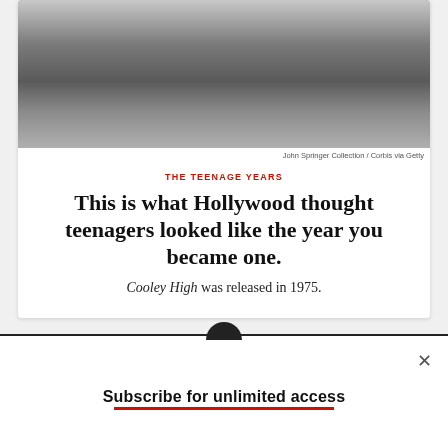[Figure (photo): Black and white photograph showing people walking, cropped to show legs and lower bodies]
John Springer Collection / Corbis via Getty
THE TEENAGE YEARS
This is what Hollywood thought teenagers looked like the year you became one.
Cooley High was released in 1975.
Subscribe for unlimited access